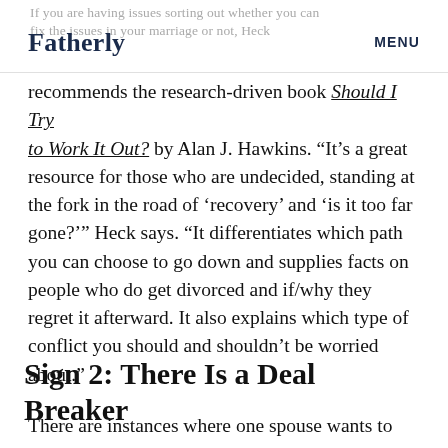Fatherly   MENU
recommends the research-driven book Should I Try to Work It Out? by Alan J. Hawkins. “It’s a great resource for those who are undecided, standing at the fork in the road of ‘recovery’ and ‘is it too far gone?’” Heck says. “It differentiates which path you can choose to go down and supplies facts on people who do get divorced and if/why they regret it afterward. It also explains which type of conflict you should and shouldn’t be worried about.”
Sign 2: There Is a Deal Breaker
There are instances where one spouse wants to